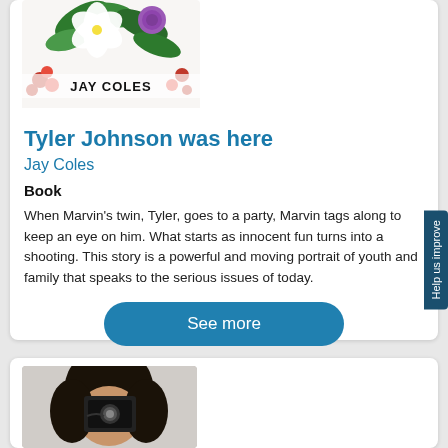[Figure (photo): Book cover for 'Tyler Johnson Was Here' by Jay Coles, showing a floral pattern with white lilies and red flowers, with the author name JAY COLES in bold black text at the bottom center]
Tyler Johnson was here
Jay Coles
Book
When Marvin's twin, Tyler, goes to a party, Marvin tags along to keep an eye on him. What starts as innocent fun turns into a shooting. This story is a powerful and moving portrait of youth and family that speaks to the serious issues of today.
See more
[Figure (photo): A woman with long dark hair holding a small device (camera or phone) up to her eye, photographing against a white background]